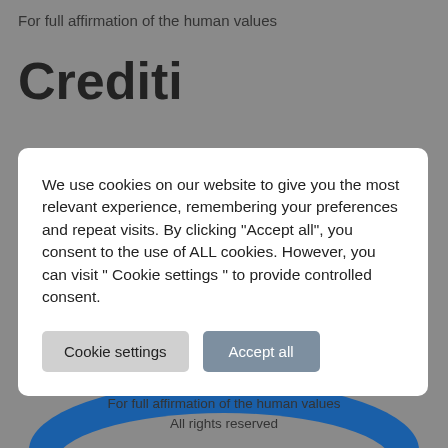For full affirmation of the human values
Crediti
We use cookies on our website to give you the most relevant experience, remembering your preferences and repeat visits. By clicking "Accept all", you consent to the use of ALL cookies. However, you can visit " Cookie settings " to provide controlled consent.
[Figure (screenshot): Blue arc logo graphic visible partially behind cookie consent modal]
For full affirmation of the human values
All rights reserved